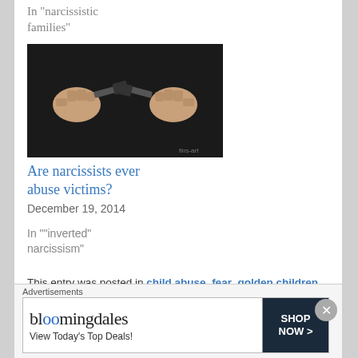In "narcissistic families"
[Figure (photo): Two fists facing each other holding hammers against a dark background, suggesting conflict or confrontation. Watermark text 'fins-art' visible.]
Are narcissists ever abuse victims?
December 19, 2014
In ""inverted" narcissism"
This entry was posted in child abuse, fear, golden children, malignant narcissism, narcissistic abuse, narcissistic parents, scapegoated children, scapegoating, shame and tagged Aspergers syndrome, avoidant personality disorder, child abuse, emotional abuse, fear, golden children, malignant narcissism, narcissistic abuse, narcissistic parents, scapegoated
Advertisements
[Figure (other): Bloomingdale's advertisement banner: logo text 'bloomingdales', subtext 'View Today's Top Deals!', right side dark box 'SHOP NOW >']